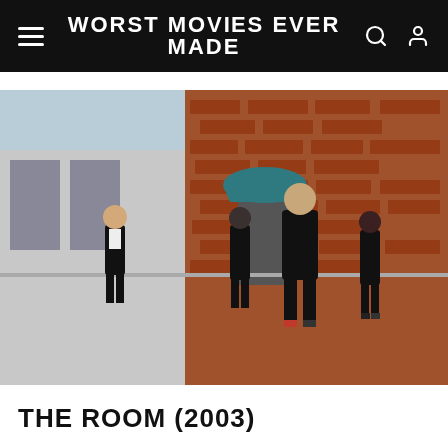WORST MOVIES EVER MADE
[Figure (photo): Outdoor scene from The Room (2003) showing several people in black suits standing on a sidewalk next to a brick wall building with a teal awning]
THE ROOM (2003)